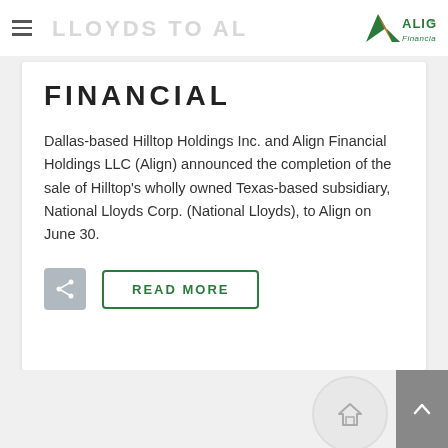LLOYDS TO ALIGN FINANCIAL — Align Financial logo
FINANCIAL
Dallas-based Hilltop Holdings Inc. and Align Financial Holdings LLC (Align) announced the completion of the sale of Hilltop's wholly owned Texas-based subsidiary, National Lloyds Corp. (National Lloyds), to Align on June 30.
READ MORE